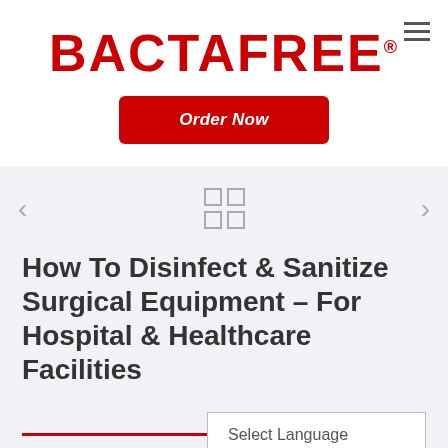BACTAFREE®
Order Now
How To Disinfect & Sanitize Surgical Equipment – For Hospital & Healthcare Facilities
Select Language